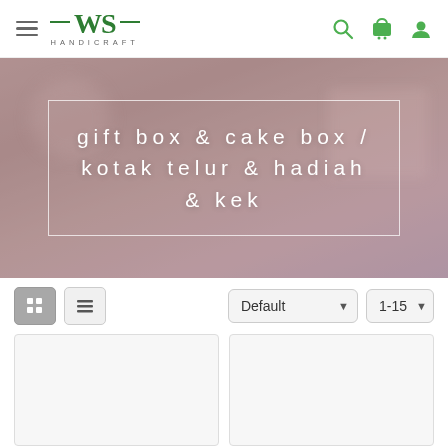[Figure (logo): WS Handicraft logo with hamburger menu icon on the left, and search, cart, user icons on the right]
[Figure (photo): Blurred banner background with gift boxes, overlay box containing text 'gift box & cake box / kotak telur & hadiah & kek' in white spaced letters]
gift box & cake box / kotak telur & hadiah & kek
[Figure (screenshot): Toolbar with grid view button (active), list view button, Default sort dropdown, and 1-15 per page dropdown]
[Figure (other): Two white/light gray product card placeholders in a two-column grid layout]